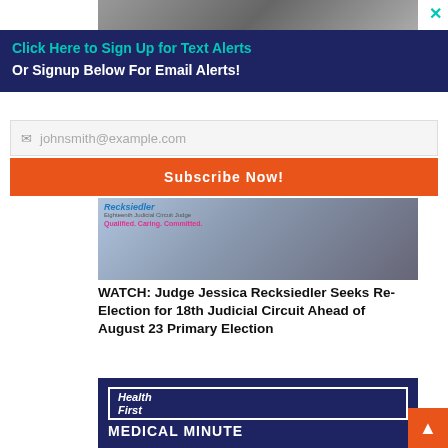[Figure (photo): Grayscale photo of people at top of page]
×
Click Here to Sign Up for Text Alerts
Or Signup Below For Email Alerts!
johnsmith@example.com
Subscribe Now!
[Figure (photo): Recksledler judicial campaign image with text: Recksledler, Eighteenth Judicial Circuit Judge, Qualified. Caring. Committed.]
WATCH: Judge Jessica Recksiedler Seeks Re-Election for 18th Judicial Circuit Ahead of August 23 Primary Election
[Figure (photo): Health First Medical Minute promotional image on dark blue background]